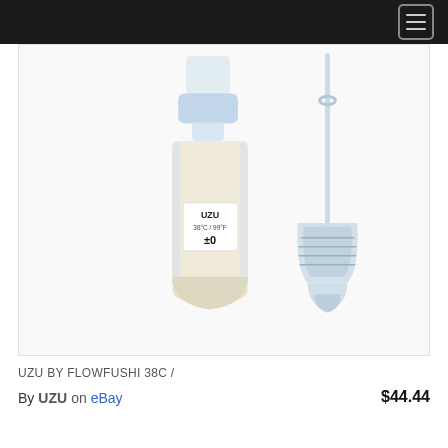Navigation menu
[Figure (photo): UZU BY FLOWFUSHI 38C lip gloss product photo showing a clear glass bottle with cream/white liquid content, labeled 'UZU 38°C/99°F ±0', alongside a clear wand applicator with brush tip]
UZU BY FLOWFUSHI 38C /
By UZU on eBay
$44.44